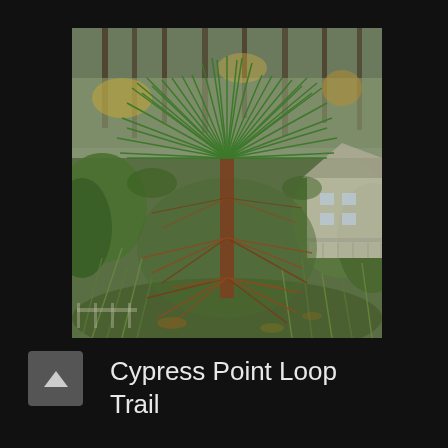[Figure (photo): A young longleaf pine tree (grass stage or bottlebrush stage) with vibrant green needle clusters at the top and reddish-brown dead needles below, surrounded by grassy undergrowth and shrubs. A white house with a porch is visible in the background right. Tall pine trees are visible in the background. The photo has a slightly overcast, cool-toned look.]
Cypress Point Loop Trail